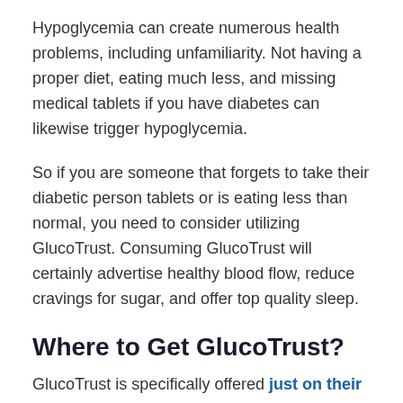Hypoglycemia can create numerous health problems, including unfamiliarity. Not having a proper diet, eating much less, and missing medical tablets if you have diabetes can likewise trigger hypoglycemia.
So if you are someone that forgets to take their diabetic person tablets or is eating less than normal, you need to consider utilizing GlucoTrust. Consuming GlucoTrust will certainly advertise healthy blood flow, reduce cravings for sugar, and offer top quality sleep.
Where to Get GlucoTrust?
GlucoTrust is specifically offered just on their